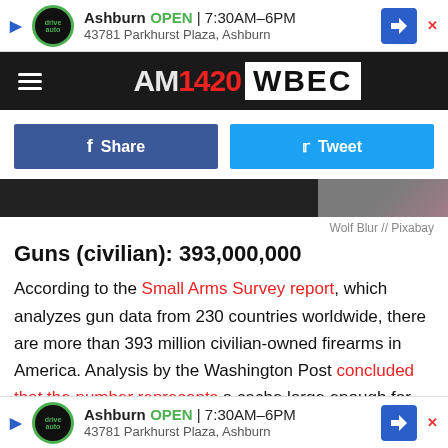[Figure (screenshot): Advertisement banner: Advance Auto Parts Ashburn, OPEN 7:30AM-6PM, 43781 Parkhurst Plaza, Ashburn]
[Figure (logo): AM1420 WBEC radio station logo on dark header bar with hamburger menu]
[Figure (screenshot): Facebook Share and Twitter Tweet social share buttons]
[Figure (photo): Dark image strip with partial hand/gun image]
Wolf Blur // Pixabay
Guns (civilian): 393,000,000
According to the Small Arms Survey report, which analyzes gun data from 230 countries worldwide, there are more than 393 million civilian-owned firearms in America. Analysis by the Washington Post concluded that the number represents a cache large enough for "every man, woman and child to own one an... 120.5
[Figure (screenshot): Bottom advertisement: Advance Auto Parts Ashburn, OPEN 7:30AM-6PM, 43781 Parkhurst Plaza, Ashburn]